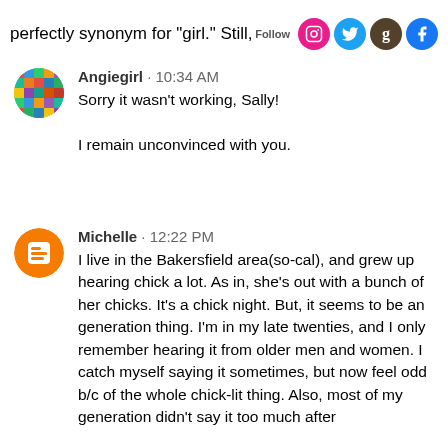perfectly synonym for "girl." Still, [social icons]
Angiegirl · 10:34 AM
Sorry it wasn't working, Sally!

I remain unconvinced with you.
Michelle · 12:22 PM
I live in the Bakersfield area(so-cal), and grew up hearing chick a lot. As in, she's out with a bunch of her chicks. It's a chick night. But, it seems to be an generation thing. I'm in my late twenties, and I only remember hearing it from older men and women. I catch myself saying it sometimes, but now feel odd b/c of the whole chick-lit thing. Also, most of my generation didn't say it too much after